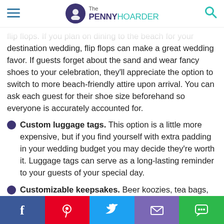The Penny Hoarder
flip flops. If you plan on dining to the beach for your destination wedding, flip flops can make a great wedding favor. If guests forget about the sand and wear fancy shoes to your celebration, they'll appreciate the option to switch to more beach-friendly attire upon arrival. You can ask each guest for their shoe size beforehand so everyone is accurately accounted for.
Custom luggage tags. This option is a little more expensive, but if you find yourself with extra padding in your wedding budget you may decide they're worth it. Luggage tags can serve as a long-lasting reminder to your guests of your special day.
Customizable keepsakes. Beer koozies, tea bags,